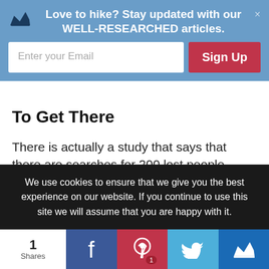[Figure (screenshot): Email signup popup banner with blue background, crown icon, headline 'Love to hike? Stay updated with our WELL-RESEARCHED articles.', email input field, and red Sign Up button]
To Get There
There is actually a study that says that there are searches for 200 lost people yearly or stranded in the wilderness.
For both of us not to be one of them, it becomes necessary and non-optional for us to study our
We use cookies to ensure that we give you the best experience on our website. If you continue to use this site we will assume that you are happy with it.
[Figure (screenshot): Social sharing bar with share count 1, Facebook, Pinterest, Twitter, and crown icon buttons]